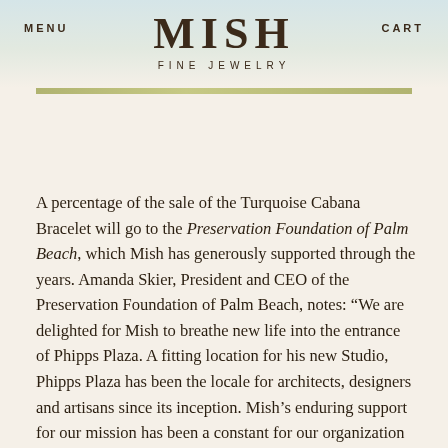MENU   MISH FINE JEWELRY   CART
A percentage of the sale of the Turquoise Cabana Bracelet will go to the Preservation Foundation of Palm Beach, which Mish has generously supported through the years. Amanda Skier, President and CEO of the Preservation Foundation of Palm Beach, notes: “We are delighted for Mish to breathe new life into the entrance of Phipps Plaza. A fitting location for his new Studio, Phipps Plaza has been the locale for architects, designers and artisans since its inception. Mish’s enduring support for our mission has been a constant for our organization over the years. By choosing to open his Studio in this charming historic